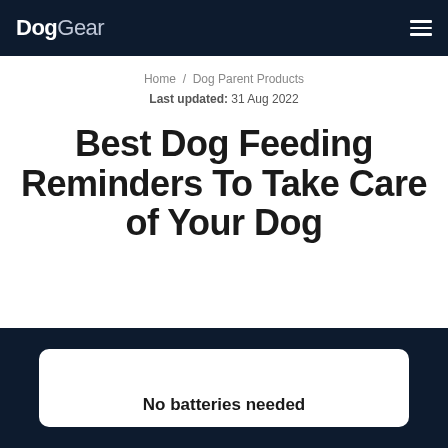DogGear
Home / Dog Parent Products
Last updated: 31 Aug 2022
Best Dog Feeding Reminders To Take Care of Your Dog
No batteries needed